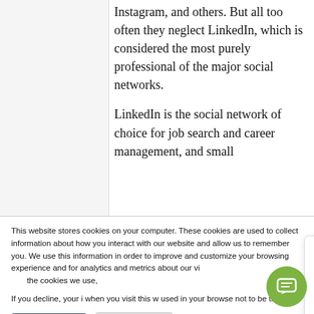Instagram, and others. But all too often they neglect LinkedIn, which is considered the most purely professional of the major social networks.
LinkedIn is the social network of choice for job search and career management, and small
This website stores cookies on your computer. These cookies are used to collect information about how you interact with our website and allow us to remember you. We use this information in order to improve and customize your browsing experience and for analytics and metrics about our visitors both on this website and [truncated] the cookies we use, [truncated]
If you decline, your i[nformation won't be tracked] when you visit this w[ebsite. A single cookie will be] used in your browse[r to remember your preference] not to be tracked.
Any questions or requests? I can schedule time with a human right now, or send in your question!